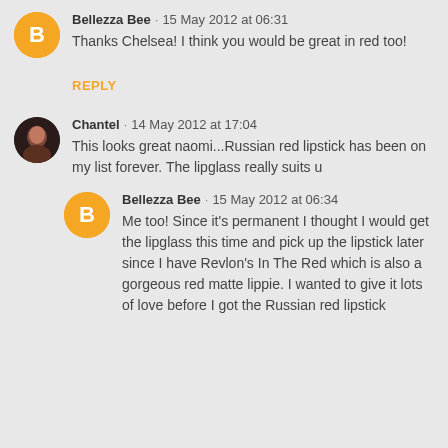[Figure (illustration): Orange Blogger avatar circle with white B logo]
Bellezza Bee · 15 May 2012 at 06:31
Thanks Chelsea! I think you would be great in red too!
REPLY
[Figure (photo): Profile photo of Chantel, a woman with dark hair]
Chantel · 14 May 2012 at 17:04
This looks great naomi...Russian red lipstick has been on my list forever. The lipglass really suits u
[Figure (illustration): Orange Blogger avatar circle with white B logo]
Bellezza Bee · 15 May 2012 at 06:34
Me too! Since it's permanent I thought I would get the lipglass this time and pick up the lipstick later since I have Revlon's In The Red which is also a gorgeous red matte lippie. I wanted to give it lots of love before I got the Russian red lipstick